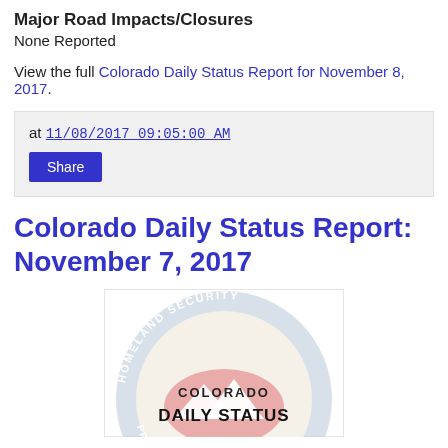Major Road Impacts/Closures
None Reported
View the full Colorado Daily Status Report for November 8, 2017.
at 11/08/2017 09:05:00 AM
Share
Colorado Daily Status Report: November 7, 2017
[Figure (logo): Homeland Security Colorado Daily Status Report seal/logo with circular text reading HOMELAND SECURITY PREVENTION PROTECTION and COLORADO DAILY STATUS in the center]